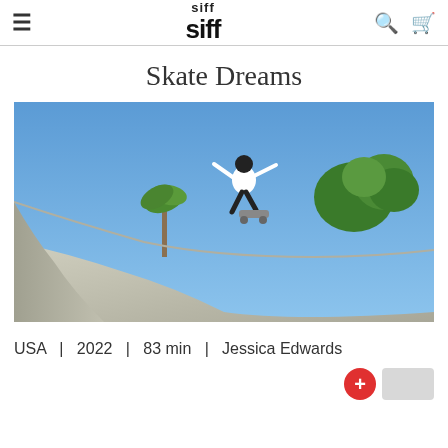siff
Skate Dreams
[Figure (photo): A skateboarder mid-air above a concrete skate park bowl, wearing a white shirt, dark pants, and black helmet, with palm trees and blue sky in the background.]
USA  |  2022  |  83 min  |  Jessica Edwards